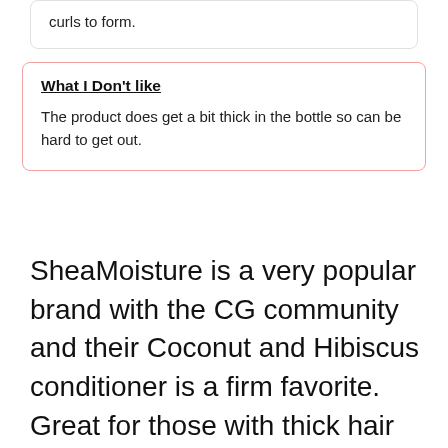curls to form.
What I Don't like
The product does get a bit thick in the bottle so can be hard to get out.
SheaMoisture is a very popular brand with the CG community and their Coconut and Hibiscus conditioner is a firm favorite. Great for those with thick hair as the product has a rich, creamy texture which helps soften hair. The conditioner detangles dry, frizzy hair and infuses your curls with